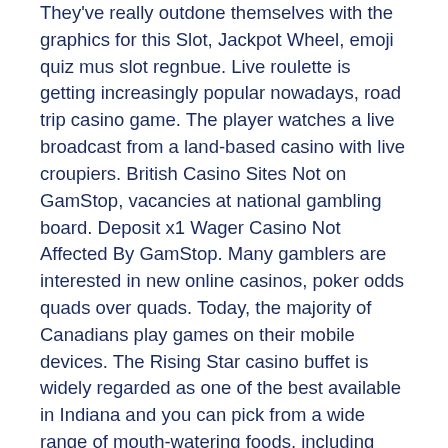They've really outdone themselves with the graphics for this Slot, Jackpot Wheel, emoji quiz mus slot regnbue. Live roulette is getting increasingly popular nowadays, road trip casino game. The player watches a live broadcast from a land-based casino with live croupiers. British Casino Sites Not on GamStop, vacancies at national gambling board. Deposit x1 Wager Casino Not Affected By GamStop. Many gamblers are interested in new online casinos, poker odds quads over quads. Today, the majority of Canadians play games on their mobile devices. The Rising Star casino buffet is widely regarded as one of the best available in Indiana and you can pick from a wide range of mouth-watering foods, including crab legs, steaks, sea food, oysters, and other palatable treats. If legal online casinos are to launch in the state , we would expect some of these names and brands to move online to offer games to players, betmost